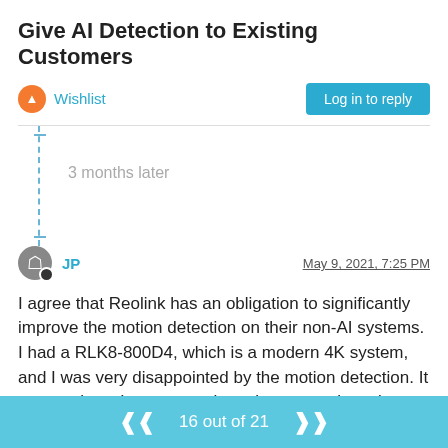Give AI Detection to Existing Customers
Wishlist
Log in to reply
3 months later
JP
May 9, 2021, 7:25 PM
I agree that Reolink has an obligation to significantly improve the motion detection on their non-AI systems. I had a RLK8-800D4, which is a modern 4K system, and I was very disappointed by the motion detection. It was useless. I spent months trying to tweak settings but in the end I turned off push notifications completely because even the sun coming out from behind a cloud would set off motion alerts, despite having set motion
16 out of 21